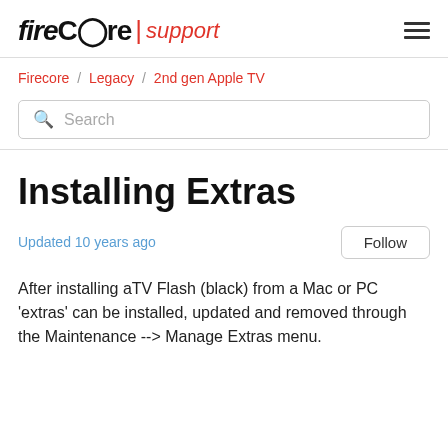fireCore | support
Firecore / Legacy / 2nd gen Apple TV
Search
Installing Extras
Updated 10 years ago
Follow
After installing aTV Flash (black) from a Mac or PC 'extras' can be installed, updated and removed through the Maintenance --> Manage Extras menu.